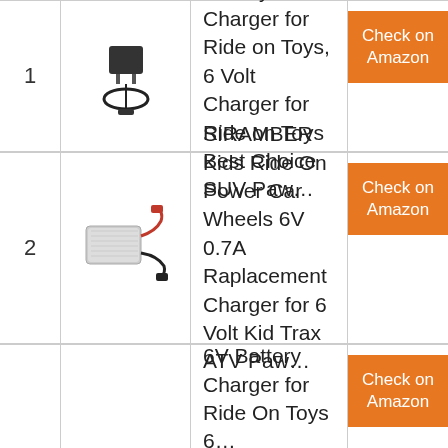| # | Image | Product | Link |
| --- | --- | --- | --- |
| 1 | [charger image] | IBERLS 6V Battery Charger for Ride on Toys, 6 Volt Charger for Ride on Toys Best Choice SUV Paw… | Check on Amazon |
| 2 | [charger image] | SIRAMBER Kids Ride On Power Car Wheels 6V 0.7A Raplacement Charger for 6 Volt Kid Trax ATV Paw… | Check on Amazon |
|  |  | 6V Battery Charger for Ride On Toys 6... | Check on Amazon |